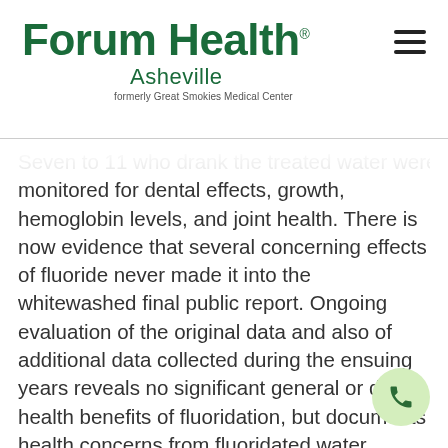[Figure (logo): Forum Health Asheville logo — green bold wordmark with 'Asheville' subtext and 'formerly Great Smokies Medical Center' tagline]
Seven to 11 who drank the treated water were monitored for dental effects, growth, hemoglobin levels, and joint health. There is now evidence that several concerning effects of fluoride never made it into the whitewashed final public report. Ongoing evaluation of the original data and also of additional data collected during the ensuing years reveals no significant general or dental health benefits of fluoridation, but documents health concerns from fluoridated water.